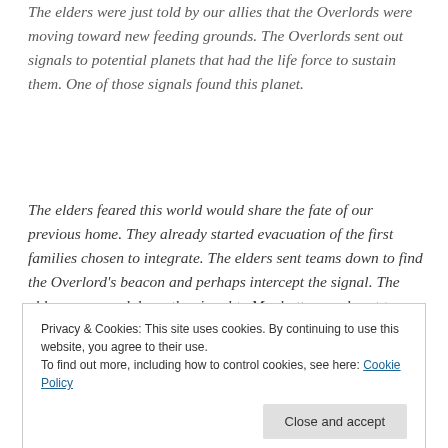The elders were just told by our allies that the Overlords were moving toward new feeding grounds.  The Overlords sent out signals to potential planets that had the life force to sustain them.  One of those signals found this planet.
The elders feared this world would share the fate of our previous home.  They already started evacuation of the first families chosen to integrate.  The elders sent teams down to find the Overlord's beacon and perhaps intercept the signal.  The elders narrowed down the signal to Manhattan, and sent teams to find it.
Privacy & Cookies: This site uses cookies. By continuing to use this website, you agree to their use. To find out more, including how to control cookies, see here: Cookie Policy
Fighting his exhaustion, breathing in shallow gasps, he